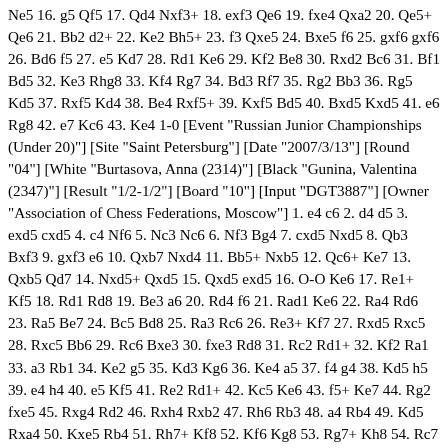Ne5 16. g5 Qf5 17. Qd4 Nxf3+ 18. exf3 Qe6 19. fxe4 Qxa2 20. Qe5+ Qe6 21. Bb2 d2+ 22. Ke2 Bh5+ 23. f3 Qxe5 24. Bxe5 f6 25. gxf6 gxf6 26. Bd6 f5 27. e5 Kd7 28. Rd1 Ke6 29. Kf2 Be8 30. Rxd2 Bc6 31. Bf1 Bd5 32. Ke3 Rhg8 33. Kf4 Rg7 34. Bd3 Rf7 35. Rg2 Bb3 36. Rg5 Kd5 37. Rxf5 Kd4 38. Be4 Rxf5+ 39. Kxf5 Bd5 40. Bxd5 Kxd5 41. e6 Rg8 42. e7 Kc6 43. Ke4 1-0 [Event "Russian Junior Championships (Under 20)"] [Site "Saint Petersburg"] [Date "2007/3/13"] [Round "04"] [White "Burtasova, Anna (2314)"] [Black "Gunina, Valentina (2347)"] [Result "1/2-1/2"] [Board "10"] [Input "DGT3887"] [Owner "Association of Chess Federations, Moscow"] 1. e4 c6 2. d4 d5 3. exd5 cxd5 4. c4 Nf6 5. Nc3 Nc6 6. Nf3 Bg4 7. cxd5 Nxd5 8. Qb3 Bxf3 9. gxf3 e6 10. Qxb7 Nxd4 11. Bb5+ Nxb5 12. Qc6+ Ke7 13. Qxb5 Qd7 14. Nxd5+ Qxd5 15. Qxd5 exd5 16. O-O Ke6 17. Re1+ Kf5 18. Rd1 Rd8 19. Be3 a6 20. Rd4 f6 21. Rad1 Ke6 22. Ra4 Rd6 23. Ra5 Be7 24. Bc5 Bd8 25. Ra3 Rc6 26. Re3+ Kf7 27. Rxd5 Rxc5 28. Rxc5 Bb6 29. Rc6 Bxe3 30. fxe3 Rd8 31. Rc2 Rd1+ 32. Kf2 Ra1 33. a3 Rb1 34. Ke2 g5 35. Kd3 Kg6 36. Ke4 a5 37. f4 g4 38. Kd5 h5 39. e4 h4 40. e5 Kf5 41. Re2 Rd1+ 42. Kc5 Ke6 43. f5+ Ke7 44. Rg2 fxe5 45. Rxg4 Rd2 46. Rxh4 Rxb2 47. Rh6 Rb3 48. a4 Rb4 49. Kd5 Rxa4 50. Kxe5 Rb4 51. Rh7+ Kf8 52. Kf6 Kg8 53. Rg7+ Kh8 54. Rc7 Rh4 55. Rc2 a4 56. Kg5 Rb4 57. Rc8+ Kg7 58. Rc7+ Kg8 59. Ra7 Rb2 60. h4 Rg2+ 61. Kf6 Rg4 62. h5 Kh8 63. h6 Rg3 64. Rxa4 Kh7 65. Re4 Ra3 66. Kf7 Kxh6 67. f6 Ra7+ 68. Re7 Ra8 69. Rd7 Kh7 70. Re7 Kh6 71. Rc7 Kh7 72. Rc6 Ra7+ 73. Ke8 Ra8+